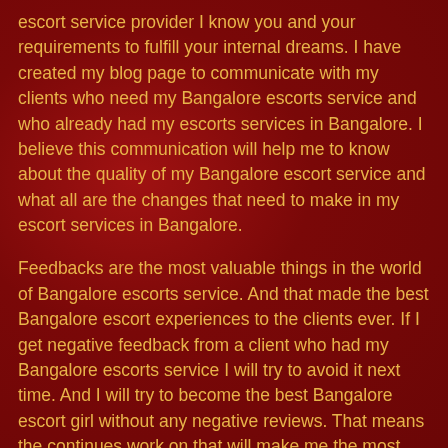escort service provider I know you and your requirements to fulfill your internal dreams. I have created my blog page to communicate with my clients who need my Bangalore escorts service and who already had my escorts services in Bangalore. I believe this communication will help me to know about the quality of my Bangalore escort service and what all are the changes that need to make in my escort services in Bangalore.
Feedbacks are the most valuable things in the world of Bangalore escorts service. And that made the best Bangalore escort experiences to the clients ever. If I get negative feedback from a client who had my Bangalore escorts service I will try to avoid it next time. And I will try to become the best Bangalore escort girl without any negative reviews. That means the continues work on that will make me the most favorite Bangalore escorts girl among all the service providers. I have added comment box within every blog that I have posted here which will help me and you to communicate with each other about my high-class Bangalore escorts service. I am expecting that more peoples will participate in this to make me your